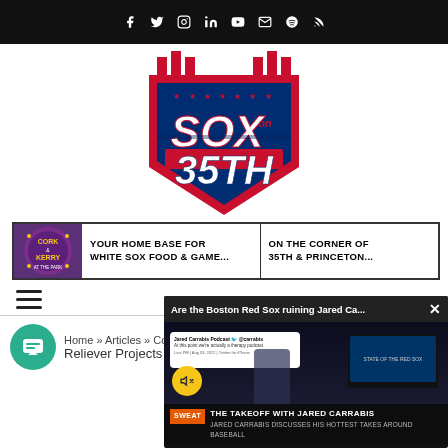Social media icon navigation bar (Facebook, Twitter, Instagram, LinkedIn, YouTube, Email, Spotify, RSS)
[Figure (logo): Sox on 35th logo – home plate shaped badge in red/navy/white with text 'SOX on 35TH' and cityscape silhouette]
[Figure (other): Cork & Kerry at the Park advertisement banner: 'YOUR HOME BASE FOR WHITE SOX... ON THE CORNER OF...']
Hamburger menu icon
Home » Articles » Coop...
Reliever Projects
[Figure (screenshot): Video overlay popup: 'Are the Boston Red Sox ruining Jared Ca...' with close button, muted video player showing Jared Carrabis Podcast tweet, and footer 'THE TAKEOFF WITH JARED CARRABIS – JARED CARRABIS DISCUSSES HIS HOTTEST TAKES AROUND BASEBALL' with SWEAT badge]